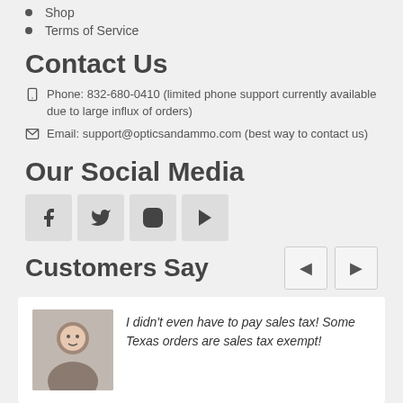Shop
Terms of Service
Contact Us
Phone: 832-680-0410 (limited phone support currently available due to large influx of orders)
Email: support@opticsandammo.com (best way to contact us)
Our Social Media
[Figure (other): Social media icons: Facebook, Twitter, Instagram, YouTube]
Customers Say
I didn't even have to pay sales tax! Some Texas orders are sales tax exempt!